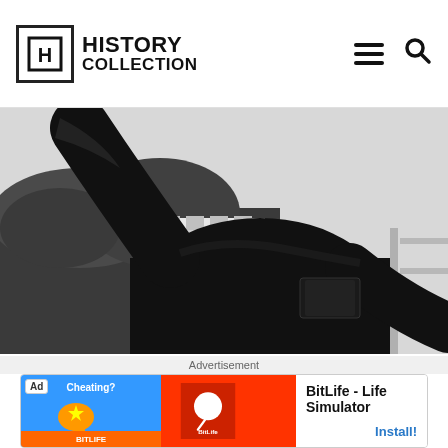HISTORY COLLECTION
[Figure (photo): Black and white photograph showing a person from behind wearing a dark military-style jacket, with arm raised. Background shows trees and a white building with classical columns.]
Advertisement
[Figure (other): Advertisement banner for BitLife - Life Simulator app. Shows Ad badge, cartoon graphic on left with blue background (Cheating? text and muscle emoji), red section with BitLife logo (sperm icon), and white section with app name and Install button.]